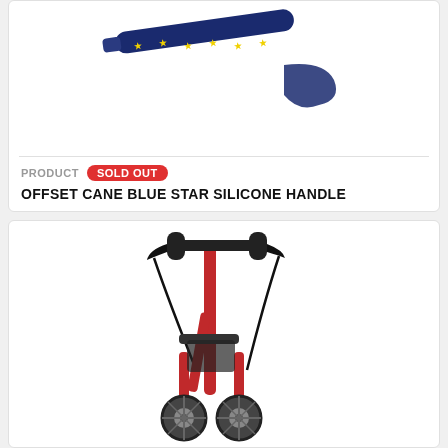[Figure (photo): Product photo of an offset cane with blue star pattern silicone handle and wrist strap, shown against white background]
PRODUCT   SOLD OUT
OFFSET CANE BLUE STAR SILICONE HANDLE
[Figure (photo): Product photo of a red rollator walker shown in folded/side profile view against white background, with black handles, brake levers, and small wheels]